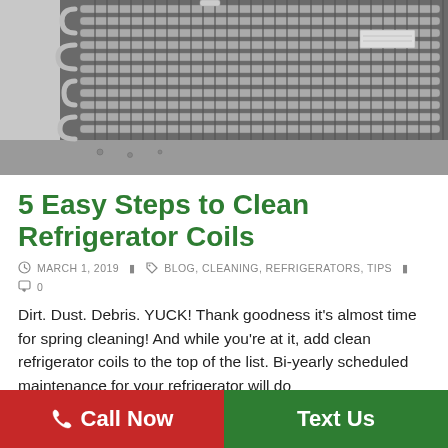[Figure (photo): Close-up black and white photo of refrigerator condenser coils with metal fins and tubing]
5 Easy Steps to Clean Refrigerator Coils
MARCH 1, 2019   BLOG, CLEANING, REFRIGERATORS, TIPS   0
Dirt. Dust. Debris. YUCK! Thank goodness it’s almost time for spring cleaning! And while you’re at it, add clean refrigerator coils to the top of the list. Bi-yearly scheduled maintenance for your refrigerator will do
Call Now   Text Us